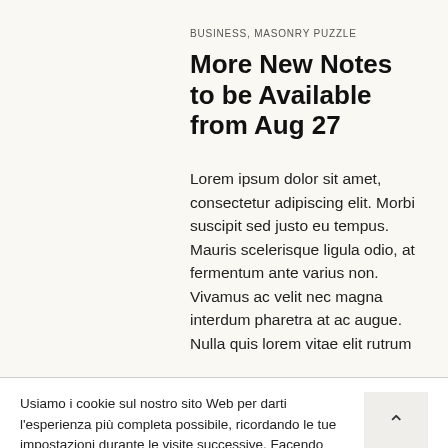BUSINESS, MASONRY PUZZLE
More New Notes to be Available from Aug 27
Lorem ipsum dolor sit amet, consectetur adipiscing elit. Morbi suscipit sed justo eu tempus. Mauris scelerisque ligula odio, at fermentum ante varius non. Vivamus ac velit nec magna interdum pharetra at ac augue. Nulla quis lorem vitae elit rutrum
Usiamo i cookie sul nostro sito Web per darti l'esperienza più completa possibile, ricordando le tue impostazioni durante le visite successive. Facendo click su "Accetta tutto" acconsenti all'uso di tutti i cookie. Puoi anche fare click su "Impostazioni cookie" per fornire un consenso più articolato..